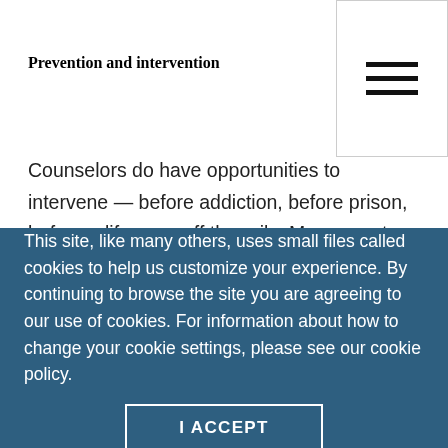Prevention and intervention
[Figure (other): Hamburger menu icon — three horizontal black lines in a bordered box at top right]
Counselors do have opportunities to intervene — before addiction, before prison, before a life goes off the rails. Morgan notes that while the focus is typically on those who are physically addicted to substances, almost three times as many people are problem users. And it is these individuals whom counselors are most likely to see, he says.
This site, like many others, uses small files called cookies to help us customize your experience. By continuing to browse the site you are agreeing to our use of cookies. For information about how to change your cookie settings, please see our cookie policy.
I ACCEPT